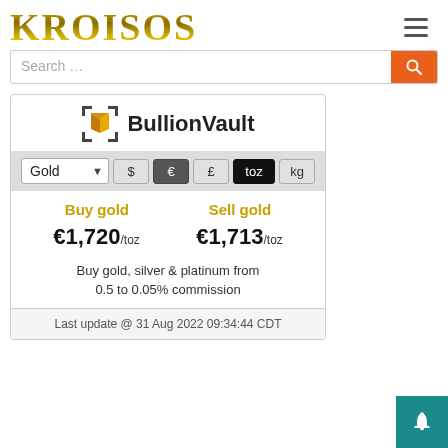KROISOS
[Figure (screenshot): BullionVault widget showing gold buy/sell prices: Buy gold €1,720/toz, Sell gold €1,713/toz. Includes currency/unit selectors ($ € £ toz kg) and a Gold dropdown. Last update @ 31 Aug 2022 09:34:44 CDT.]
Buy gold, silver & platinum from 0.5 to 0.05% commission
Last update @ 31 Aug 2022 09:34:44 CDT